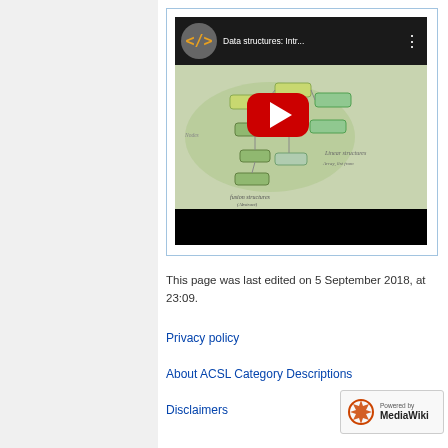[Figure (screenshot): YouTube video thumbnail showing 'Data structures: Intr...' with a mind-map style diagram of data structures, a YouTube play button overlay, and a code-related channel logo.]
This page was last edited on 5 September 2018, at 23:09.
Privacy policy
About ACSL Category Descriptions
Disclaimers
[Figure (logo): Powered by MediaWiki badge with gear/flower icon.]